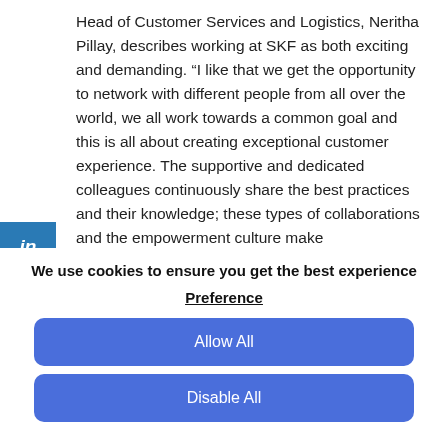Head of Customer Services and Logistics, Neritha Pillay, describes working at SKF as both exciting and demanding. “I like that we get the opportunity to network with different people from all over the world, we all work towards a common goal and this is all about creating exceptional customer experience. The supportive and dedicated colleagues continuously share the best practices and their knowledge; these types of collaborations and the empowerment culture make
We use cookies to ensure you get the best experience
Preference
Allow All
Disable All